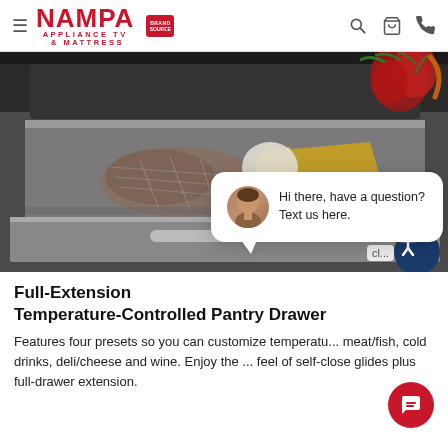NAMPA APPLIANCE TV & MATTRESS — Brand Source
[Figure (photo): Open refrigerator pantry drawer showing various food items including cheese, meats in netting, and vegetables. Radishes and carrots visible in upper right corner.]
Hi there, have a question? Text us here.
Full-Extension Temperature-Controlled Pantry Drawer
Features four presets so you can customize temperature for meat/fish, cold drinks, deli/cheese and wine. Enjoy the feel of self-close glides plus full-drawer extension.